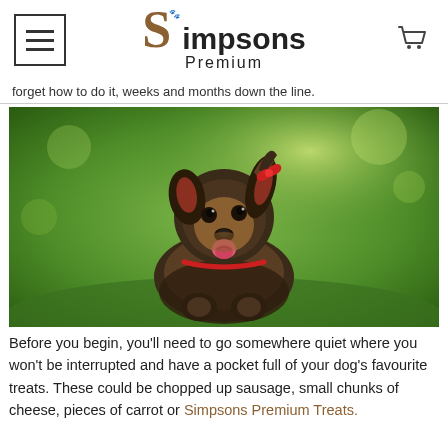Simpsons Premium
forget how to do it, weeks and months down the line.
[Figure (photo): Yorkshire Terrier dog sitting on grass with tongue out, wearing a small red bow clip, photographed outdoors with green bokeh background]
Before you begin, you'll need to go somewhere quiet where you won't be interrupted and have a pocket full of your dog's favourite treats. These could be chopped up sausage, small chunks of cheese, pieces of carrot or Simpsons Premium Treats.